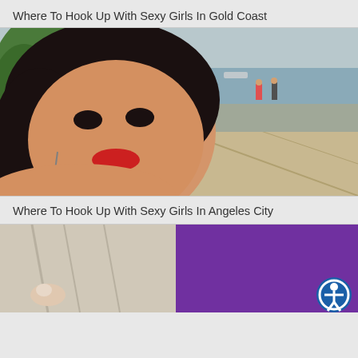Where To Hook Up With Sexy Girls In Gold Coast
[Figure (photo): Close-up photo of a woman with dark hair and red lipstick outdoors near a waterfront promenade]
Where To Hook Up With Sexy Girls In Angeles City
[Figure (photo): Close-up photo showing partial view of a person wearing a purple top, with an accessibility icon button in the bottom right corner]